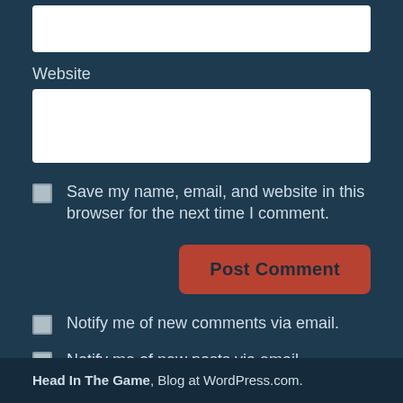Website
Save my name, email, and website in this browser for the next time I comment.
Post Comment
Notify me of new comments via email.
Notify me of new posts via email.
Head In The Game, Blog at WordPress.com.